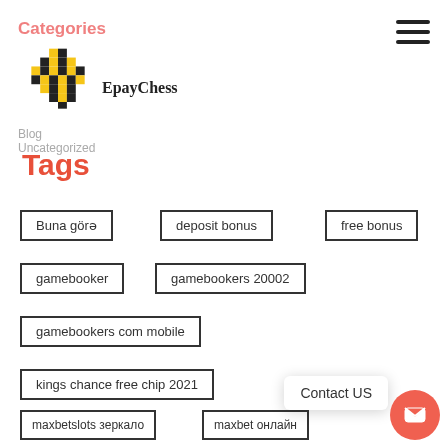Categories | Blog | Uncategorized | EpayChess
Tags
Buna görə
deposit bonus
free bonus
gamebooker
gamebookers 20002
gamebookers com mobile
kings chance free chip 2021
maxbetslots зеркало
maxbet онлайн
Contact US